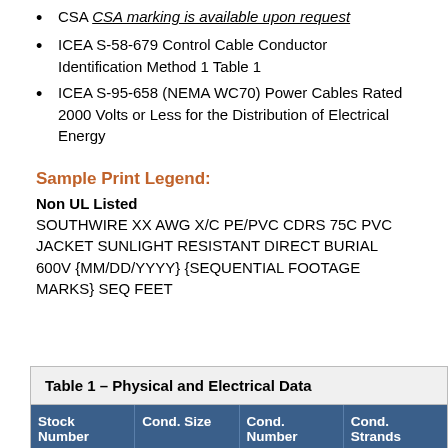CSA CSA marking is available upon request
ICEA S-58-679 Control Cable Conductor Identification Method 1 Table 1
ICEA S-95-658 (NEMA WC70) Power Cables Rated 2000 Volts or Less for the Distribution of Electrical Energy
Sample Print Legend:
Non UL Listed
SOUTHWIRE XX AWG X/C PE/PVC CDRS 75C PVC JACKET SUNLIGHT RESISTANT DIRECT BURIAL 600V {MM/DD/YYYY} {SEQUENTIAL FOOTAGE MARKS} SEQ FEET
| Stock Number | Cond. Size | Cond. Number | Cond. Strands |
| --- | --- | --- | --- |